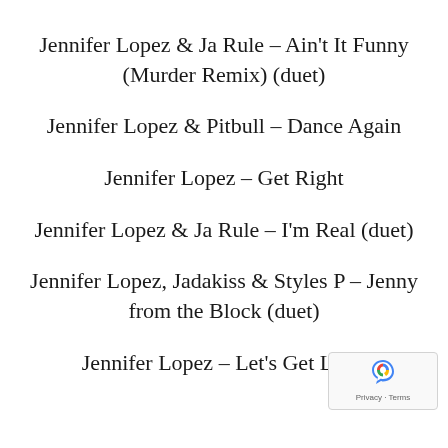Jennifer Lopez & Ja Rule – Ain't It Funny (Murder Remix) (duet)
Jennifer Lopez & Pitbull – Dance Again
Jennifer Lopez – Get Right
Jennifer Lopez & Ja Rule – I'm Real (duet)
Jennifer Lopez, Jadakiss & Styles P – Jenny from the Block (duet)
Jennifer Lopez – Let's Get Loud